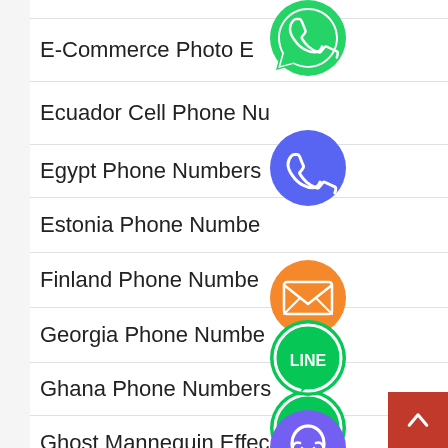E-Commerce Photo Editing
Ecuador Cell Phone Numbers
Egypt Phone Numbers
Estonia Phone Numbers
Finland Phone Numbers
Georgia Phone Numbers
Ghana Phone Numbers
Ghost Mannequin Effect
[Figure (infographic): Floating social/contact app icons (WhatsApp green, phone blue, email orange, LINE green, Viber purple, close green) overlaid on the right side of the list]